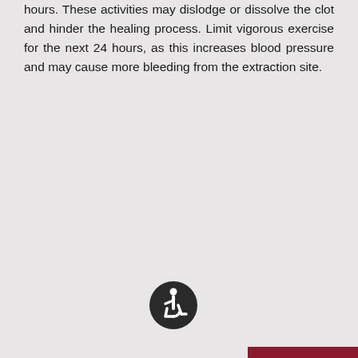hours. These activities may dislodge or dissolve the clot and hinder the healing process. Limit vigorous exercise for the next 24 hours, as this increases blood pressure and may cause more bleeding from the extraction site.
[Figure (infographic): A rounded rectangular card with dark red border on a pink/mauve background. Title reads 'Do You Need a Tooth Extraction?' with body text 'If one or more of your teeth require extraction, trust Oral Surgeons Drs. Yang or Young to perform the procedure.' A dark circle with wheelchair accessibility icon is in bottom left. A dark red bar appears at the very bottom of the card.]